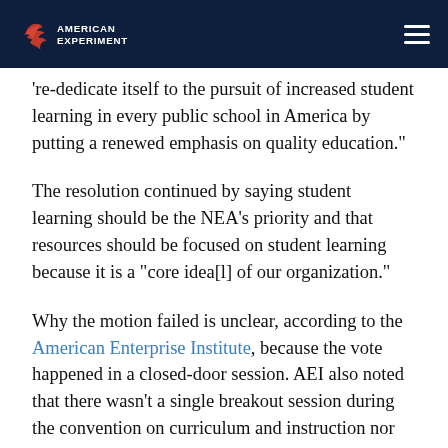American Experiment
're-dedicate itself to the pursuit of increased student learning in every public school in America by putting a renewed emphasis on quality education."
The resolution continued by saying student learning should be the NEA’s priority and that resources should be focused on student learning because it is a “core idea[l] of our organization."
Why the motion failed is unclear, according to the American Enterprise Institute, because the vote happened in a closed-door session. AEI also noted that there wasn't a single breakout session during the convention on curriculum and instruction nor raising student test scores, per the convention agenda.